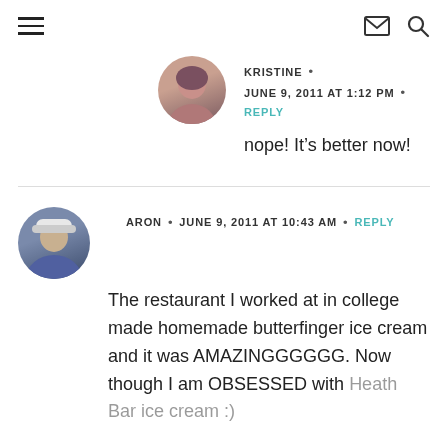Navigation header with hamburger menu, envelope icon, and search icon
KRISTINE • JUNE 9, 2011 AT 1:12 PM • REPLY
nope! It's better now!
ARON • JUNE 9, 2011 AT 10:43 AM • REPLY
The restaurant I worked at in college made homemade butterfinger ice cream and it was AMAZINGGGGGG. Now though I am OBSESSED with Heath Bar ice cream :)